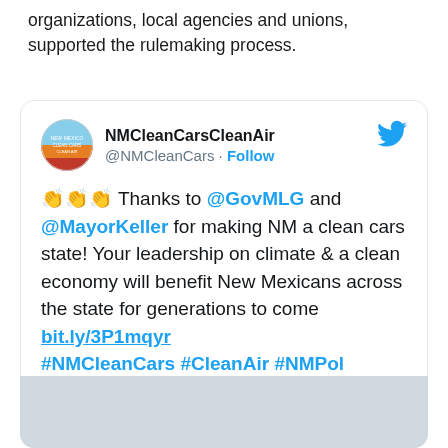organizations, local agencies and unions, supported the rulemaking process.
[Figure (screenshot): Embedded tweet from @NMCleanCars (NMCleanCarsCleanAir) with clapping emoji text: Thanks to @GovMLG and @MayorKeller for making NM a clean cars state! Your leadership on climate & a clean economy will benefit New Mexicans across the state for generations to come bit.ly/3P1mqyr #NMCleanCars #CleanAir #NMPol #ClimateActionNow #ProtectPublicHealth]